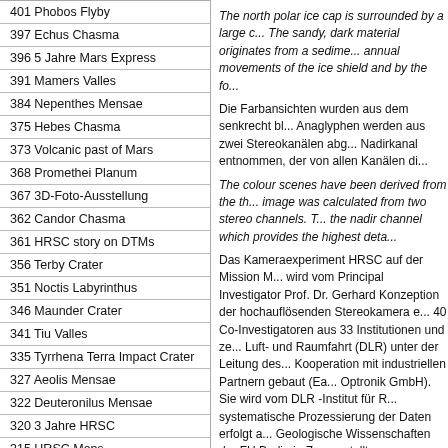401 Phobos Flyby
397 Echus Chasma
396 5 Jahre Mars Express
391 Mamers Valles
384 Nepenthes Mensae
375 Hebes Chasma
373 Volcanic past of Mars
368 Promethei Planum
367 3D-Foto-Ausstellung
362 Candor Chasma
361 HRSC story on DTMs
356 Terby Crater
351 Noctis Labyrinthus
346 Maunder Crater
341 Tiu Valles
335 Tyrrhena Terra Impact Crater
327 Aeolis Mensae
322 Deuteronilus Mensae
320 3 Jahre HRSC
315 HRSC Maps
314 Cydonia Movie
300 Cydonia
The north polar ice cap is surrounded by a large c... The sandy, dark material originates from a sedime... annual movements of the ice shield and by the fo...
Die Farbansichten wurden aus dem senkrecht bl... Anaglyphen werden aus zwei Stereokanälen abg... Nadirkanal entnommen, der von allen Kanälen di...
The colour scenes have been derived from the th... image was calculated from two stereo channels. T... the nadir channel which provides the highest deta...
Das Kameraexperiment HRSC auf der Mission M... wird vom Principal Investigator Prof. Dr. Gerhard Konzeption der hochauflösenden Stereokamera e... 40 Co-Investigatoren aus 33 Institutionen und ze... Luft- und Raumfahrt (DLR) unter der Leitung des... Kooperation mit industriellen Partnern gebaut (Ea... Optronik GmbH). Sie wird vom DLR -Institut für R... systematische Prozessierung der Daten erfolgt a... Geologische Wissenschaften der FU Berlin in Zu... erstellt.